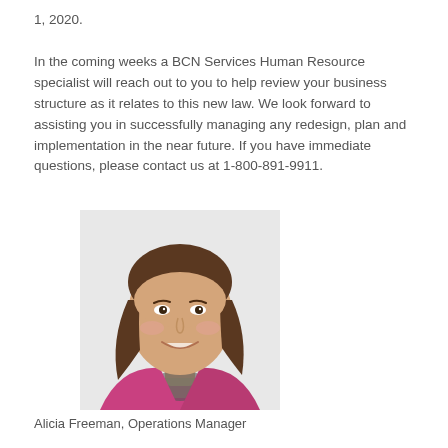1, 2020.

In the coming weeks a BCN Services Human Resource specialist will reach out to you to help review your business structure as it relates to this new law. We look forward to assisting you in successfully managing any redesign, plan and implementation in the near future. If you have immediate questions, please contact us at 1-800-891-9911.
[Figure (photo): Headshot photo of Alicia Freeman, a young woman with shoulder-length brown hair, smiling, wearing a pink blazer over a patterned top, photographed against a white/light background.]
Alicia Freeman, Operations Manager